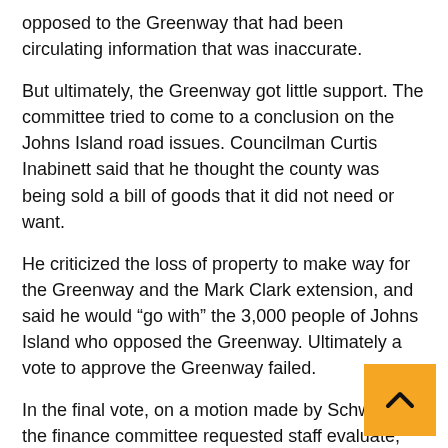opposed to the Greenway that had been circulating information that was inaccurate.
But ultimately, the Greenway got little support. The committee tried to come to a conclusion on the Johns Island road issues. Councilman Curtis Inabinett said that he thought the county was being sold a bill of goods that it did not need or want.
He criticized the loss of property to make way for the Greenway and the Mark Clark extension, and said he would “go with” the 3,000 people of Johns Island who opposed the Greenway. Ultimately a vote to approve the Greenway failed.
In the final vote, on a motion made by Schweers, the finance committee requested staff evaluate, design and implement the safety improvements to the extent that financing would allow, and to apply for a $5 million federal grant. The vote was unanimous, though Thurmond was absent, having left th chamber after the Greenway options were effectively re